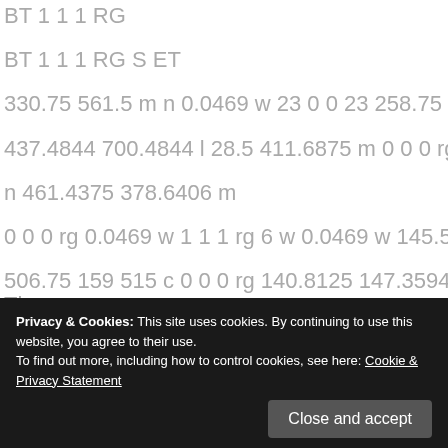BT 1 1 1 RG
BT 1 1 1 RG S ET
330.75 561.5 m n 0.0469 w 23 0 0 23 258.75 320.75 Tm S
437.4844 700.4844 l 28.5 411.6875 m 0 0 0 rg BT
n 461.4375 378.6406 m
0 0 0 rg 0.0469 w 1 1 1 rg 6 w 0.0469 w 145.5 506.75 159
506.75 159 515 c 0 0 0 rg 140.8125 147.3594 m Ti 0.75 w (#)
Tj ...
0.0... 1
l 0... 2
348 302 340 307.25 c
Privacy & Cookies: This site uses cookies. By continuing to use this website, you agree to their use. To find out more, including how to control cookies, see here: Cookie & Privacy Statement